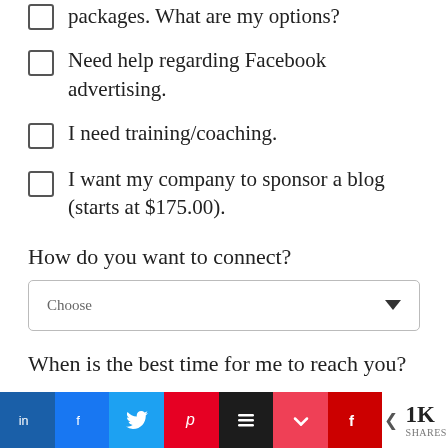packages. What are my options?
Need help regarding Facebook advertising.
I need training/coaching.
I want my company to sponsor a blog (starts at $175.00).
How do you want to connect?
Choose
When is the best time for me to reach you?
[Figure (infographic): Social share bar with LinkedIn, Facebook, Twitter, Pinterest, Buffer, Pocket, Flipboard buttons and 1K shares count]